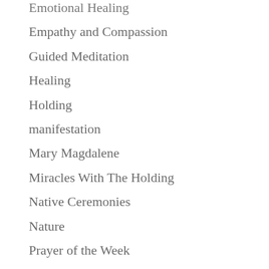Emotional Healing
Empathy and Compassion
Guided Meditation
Healing
Holding
manifestation
Mary Magdalene
Miracles With The Holding
Native Ceremonies
Nature
Prayer of the Week
Prosperity and Abundance